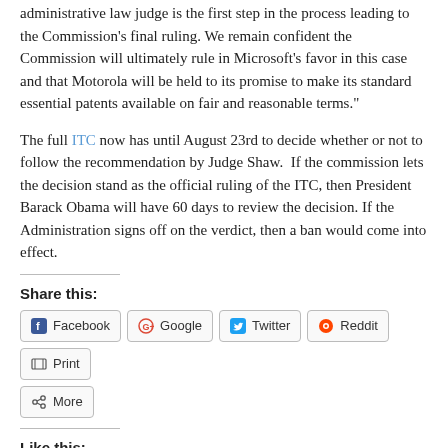administrative law judge is the first step in the process leading to the Commission's final ruling. We remain confident the Commission will ultimately rule in Microsoft's favor in this case and that Motorola will be held to its promise to make its standard essential patents available on fair and reasonable terms."
The full ITC now has until August 23rd to decide whether or not to follow the recommendation by Judge Shaw. If the commission lets the decision stand as the official ruling of the ITC, then President Barack Obama will have 60 days to review the decision. If the Administration signs off on the verdict, then a ban would come into effect.
Share this:
Facebook Google Twitter Reddit Print More
Like this:
Loading...